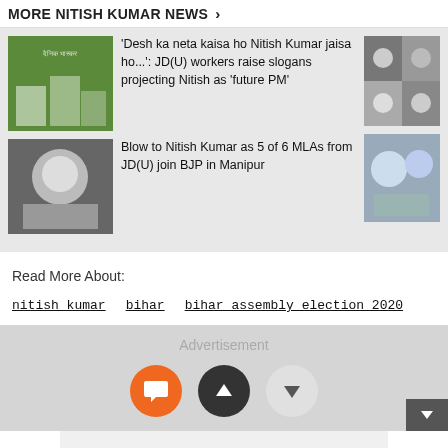More NITISH KUMAR News >
[Figure (photo): Thumbnail image of politicians at a event with green background]
'Desh ka neta kaisa ho Nitish Kumar jaisa ho...': JD(U) workers raise slogans projecting Nitish as 'future PM'
[Figure (photo): Collage of politicians in press conference right column top]
[Figure (photo): Nitish Kumar portrait photo]
Blow to Nitish Kumar as 5 of 6 MLAs from JD(U) join BJP in Manipur
[Figure (photo): Politicians exchanging garlands right column bottom]
Read More About:
nitish kumar
bihar
bihar assembly election 2020
Advertisement